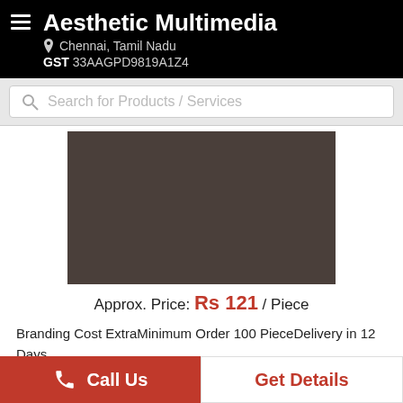Aesthetic Multimedia
Chennai, Tamil Nadu
GST 33AAGPD9819A1Z4
Search for Products / Services
[Figure (photo): Dark brown/gray product image placeholder]
Approx. Price: Rs 121 / Piece
Branding Cost ExtraMinimum Order 100 PieceDelivery in 12 Days
Additional Information:
Minimum Order Quantity:...more
Call Us
Get Details